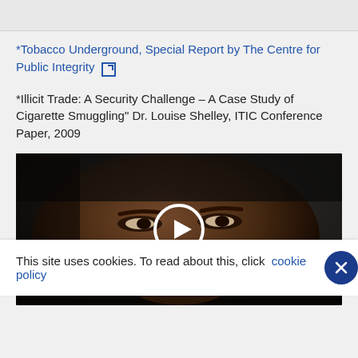*Tobacco Underground, Special Report by The Centre for Public Integrity [external link]
*Illicit Trade: A Security Challenge – A Case Study of Cigarette Smuggling" Dr. Louise Shelley, ITIC Conference Paper, 2009
[Figure (screenshot): Video thumbnail showing a close-up of a person's face with a play button overlay]
This site uses cookies. To read about this, click cookie policy